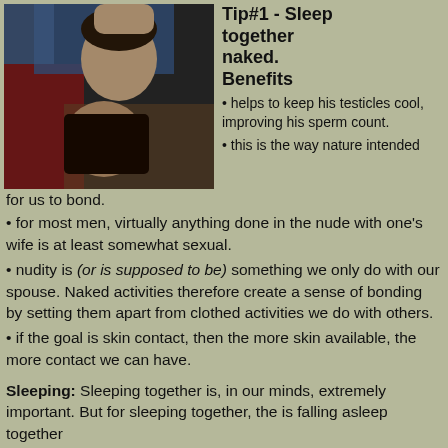[Figure (photo): A couple lying together under colorful blankets, man and woman cuddled up close]
Tip#1 - Sleep together naked.
Benefits
helps to keep his testicles cool, improving his sperm count.
this is the way nature intended for us to bond.
for most men, virtually anything done in the nude with one's wife is at least somewhat sexual.
nudity is (or is supposed to be) something we only do with our spouse. Naked activities therefore create a sense of bonding by setting them apart from clothed activities we do with others.
if the goal is skin contact, then the more skin available, the more contact we can have.
Sleeping: Sleeping together is, in our minds, extremely important. But for sleeping together, the is falling asleep together